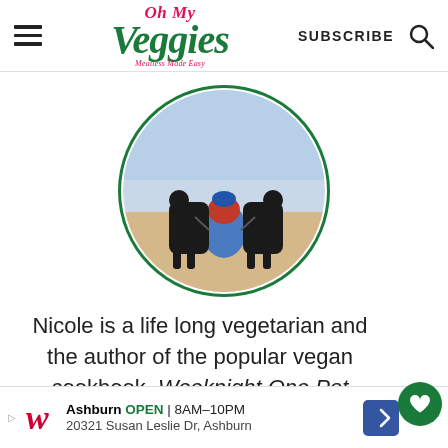Oh My Veggies — SUBSCRIBE
[Figure (photo): Circular profile photo showing a person in blue crouching between two large black dogs on a beach, framed with a dark green circle border.]
Nicole is a life long vegetarian and the author of the popular vegan cookbook, Weeknight One Pot Vegan Cooking. She loves sharing her recipes and showing the world just how easy and
[Figure (other): Advertisement banner: Walgreens logo, Ashburn OPEN 8AM-10PM, 20321 Susan Leslie Dr, Ashburn, with navigation icon.]